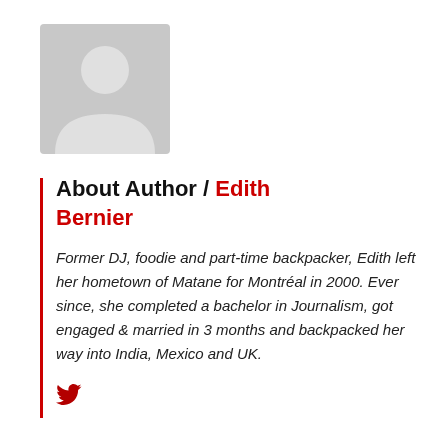[Figure (illustration): Gray placeholder avatar image showing a silhouette of a person (head and shoulders)]
About Author / Edith Bernier
Former DJ, foodie and part-time backpacker, Edith left her hometown of Matane for Montréal in 2000. Ever since, she completed a bachelor in Journalism, got engaged & married in 3 months and backpacked her way into India, Mexico and UK.
[Figure (logo): Twitter bird icon in red/dark red color]